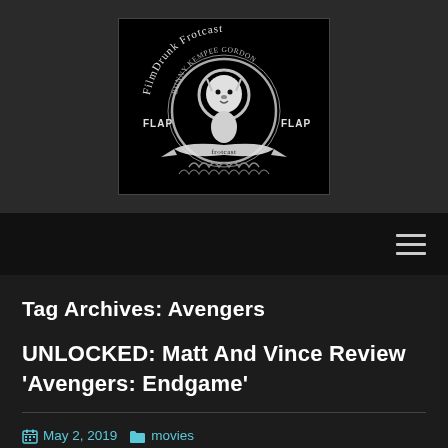[Figure (logo): FilmDrunk Frotcast logo — black background with stylized MGM-parody lion in circle, text 'FilmDrunk Frotcast' arched at top, 'FLAP FLAP' on sides, ribbon banner at bottom]
Tag Archives: Avengers
UNLOCKED: Matt And Vince Review ‘Avengers: Endgame’
May 2, 2019  movies  Avengers, Avengers Endgame, Marvel, REVIEWS  frotcast